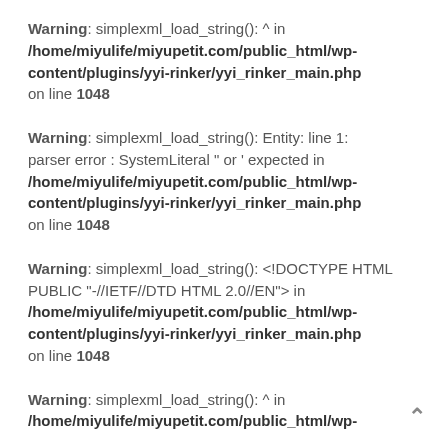Warning: simplexml_load_string(): ^ in /home/miyulife/miyupetit.com/public_html/wp-content/plugins/yyi-rinker/yyi_rinker_main.php on line 1048
Warning: simplexml_load_string(): Entity: line 1: parser error : SystemLiteral " or ' expected in /home/miyulife/miyupetit.com/public_html/wp-content/plugins/yyi-rinker/yyi_rinker_main.php on line 1048
Warning: simplexml_load_string(): <!DOCTYPE HTML PUBLIC "-//IETF//DTD HTML 2.0//EN"> in /home/miyulife/miyupetit.com/public_html/wp-content/plugins/yyi-rinker/yyi_rinker_main.php on line 1048
Warning: simplexml_load_string(): ^ in /home/miyulife/miyupetit.com/public_html/wp-